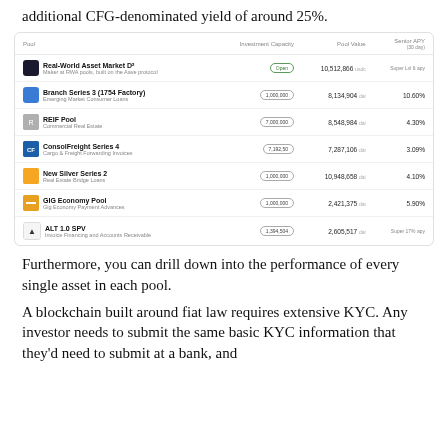additional CFG-denominated yield of around 25%.
| Pool | Investment Capacity | Pool Value | Senior APY |
| --- | --- | --- | --- |
| Real-World Asset Market D²
Maker at RWA pools, built on the Aave protocol | Open | 10,512,866 usdc | Super Lvl 6 apy |
| Branch Series 3 (1754 Factory)
Emerging Market Consumer Loans | 1,000,000 | 8,134,904 dai | 10.60% |
| REIF Pool
Commercial Real Estate | 7,000,000 | 8,548,984 dai | 4.30% |
| ConsolFreight Series 4
Cargo & Freight Forwarding Invoices | 7,192,50 | 7,287,106 dai | 3.09% |
| New Silver Series 2
Real Estate Bridge Loans | 1,000,000 | 10,948,658 dai | 4.10% |
| GIG Economy Pool
Gig Economy Payment Advances | 1,000,000 | 2,421,375 dai | 5.90% |
| ALT 1.0 SPV
Invoice Financing and Accounts Receivable | 1,394,504 | 2,605,517 dai | Super 17% apy |
Furthermore, you can drill down into the performance of every single asset in each pool.
A blockchain built around fiat law requires extensive KYC. Any investor needs to submit the same basic KYC information that they'd need to submit at a bank, and